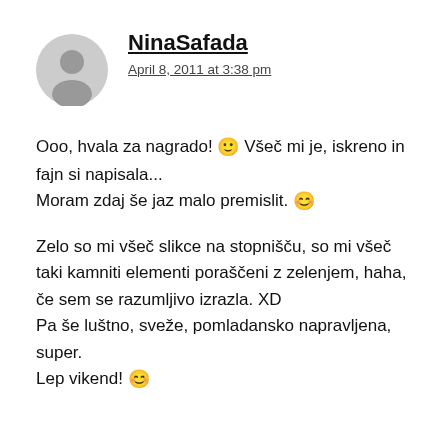NinaSafada
April 8, 2011 at 3:38 pm
Ooo, hvala za nagrado! 🙂 Všeč mi je, iskreno in fajn si napisala...
Moram zdaj še jaz malo premislit. 😊
Zelo so mi všeč slikce na stopnišču, so mi všeč taki kamniti elementi poraščeni z zelenjem, haha, če sem se razumljivo izrazla. XD
Pa še luštno, sveže, pomladansko napravljena, super.
Lep vikend! 😊